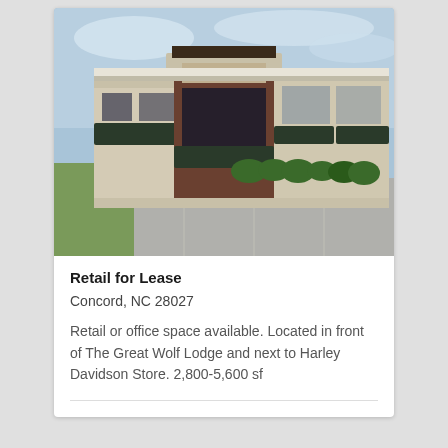[Figure (photo): Exterior photo of a retail strip center with dark awnings, brick facade, and a parking lot in front. Blue sky with light clouds visible above.]
Retail for Lease
Concord, NC 28027
Retail or office space available. Located in front of The Great Wolf Lodge and next to Harley Davidson Store. 2,800-5,600 sf